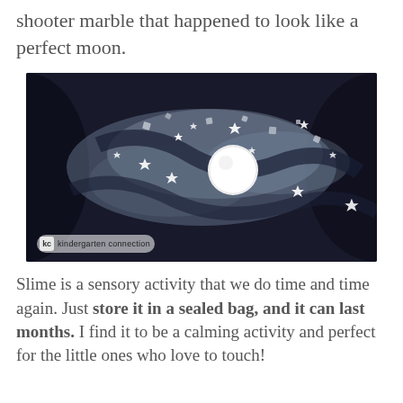shooter marble that happened to look like a perfect moon.
[Figure (photo): Close-up photo of galaxy/space-themed slime in a sealed bag with silver star confetti scattered throughout and a white marble (moon) in the center, against a dark navy/black background. Watermark reads: kindergarten connection]
Slime is a sensory activity that we do time and time again. Just store it in a sealed bag, and it can last months. I find it to be a calming activity and perfect for the little ones who love to touch!